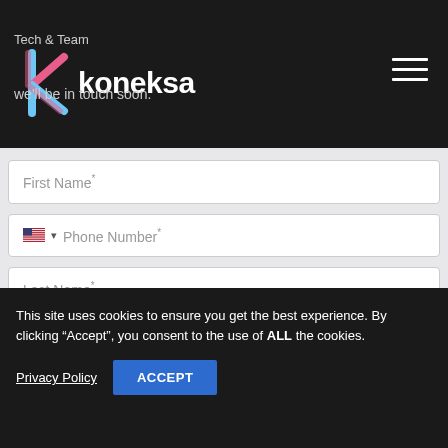Tech & Team — koneksa — we'll be in touch soon.
First Name*
Phone Number*
Last Name*
Message*
This site uses cookies to ensure you get the best experience. By clicking “Accept”, you consent to the use of ALL the cookies.
Privacy Policy
ACCEPT